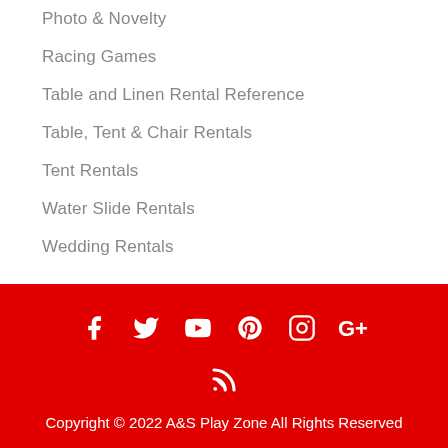Photo & Novelty
Racing Games
Table and Linen Rental Reference
Table, Tent & Chair Rentals
Tent Rentals
Water Slide Rentals
Wedding Rentals
Copyright © 2022 A&S Play Zone All Rights Reserved